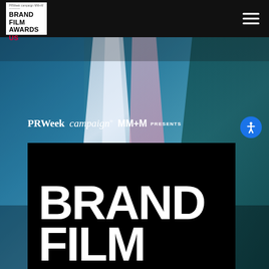[Figure (logo): Brand Film Awards US logo in white box on black navigation bar]
[Figure (photo): Cinematic background photo with blue, teal, purple and pink light streaks/bokeh on dark background]
PRWeek campaign MM+M PRESENTS
[Figure (illustration): Black card with large bold white text reading BRAND FILM in condensed sans-serif font]
[Figure (other): Blue circular accessibility icon button with person figure]